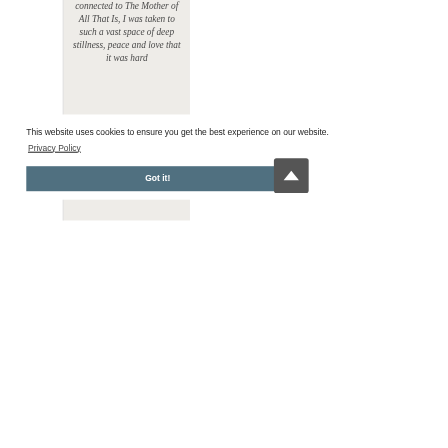connected to The Mother of All That Is, I was taken to such a vast space of deep stillness, peace and love that it was hard
This website uses cookies to ensure you get the best experience on our website.
Privacy Policy
Got it!
feel the